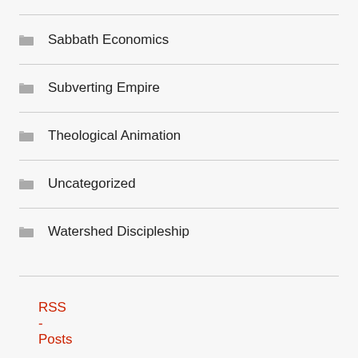Sabbath Economics
Subverting Empire
Theological Animation
Uncategorized
Watershed Discipleship
RSS - Posts